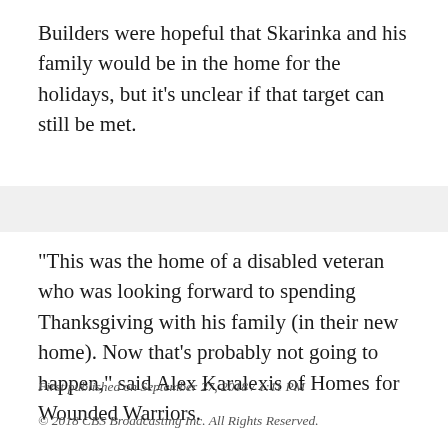Builders were hopeful that Skarinka and his family would be in the home for the holidays, but it's unclear if that target can still be met.
"This was the home of a disabled veteran who was looking forward to spending Thanksgiving with his family (in their new home). Now that's probably not going to happen," said Alex Karalexis of Homes for Wounded Warriors.
First published on September 27, 2018 / 1:11 PM
© 2018 CBS Broadcasting Inc. All Rights Reserved.